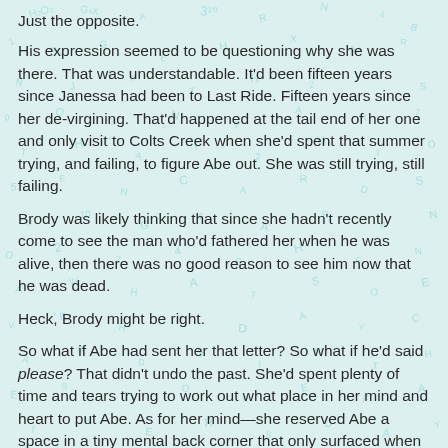Just the opposite.
His expression seemed to be questioning why she was there. That was understandable. It'd been fifteen years since Janessa had been to Last Ride. Fifteen years since her de-virgining. That'd happened at the tail end of her one and only visit to Colts Creek when she'd spent that summer trying, and failing, to figure Abe out. She was still trying, still failing.
Brody was likely thinking that since she hadn't recently come to see the man who'd fathered her when he was alive, then there was no good reason to see him now that he was dead.
Heck, Brody might be right.
So what if Abe had sent her that letter? So what if he'd said please? That didn't undo the past. She'd spent plenty of time and tears trying to work out what place in her mind and heart to put Abe. As for her mind—she reserved Abe a space in a tiny mental back corner that only surfaced when she saw Father's Day cards in the store. And as for her heart—she'd given him no space whatsoever.